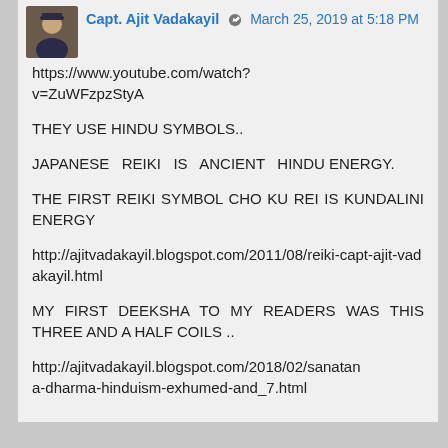Capt. Ajit Vadakayil · March 25, 2019 at 5:18 PM
https://www.youtube.com/watch?v=ZuWFzpzStyA
THEY USE HINDU SYMBOLS..
JAPANESE REIKI IS ANCIENT HINDU ENERGY.
THE FIRST REIKI SYMBOL CHO KU REI IS KUNDALINI ENERGY
http://ajitvadakayil.blogspot.com/2011/08/reiki-capt-ajit-vadakayil.html
MY FIRST DEEKSHA TO MY READERS WAS THIS THREE AND A HALF COILS ..
http://ajitvadakayil.blogspot.com/2018/02/sanatana-dharma-hinduism-exhumed-and_7.html